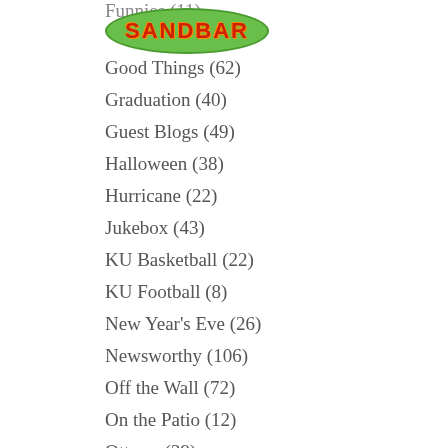[Figure (logo): Sandbar logo: green oval with red bold text SANDBAR]
Good Things (62)
Graduation (40)
Guest Blogs (49)
Halloween (38)
Hurricane (22)
Jukebox (43)
KU Basketball (22)
KU Football (8)
New Year's Eve (26)
Newsworthy (106)
Off the Wall (72)
On the Patio (12)
Ottawa (39)
Our Ghost (16)